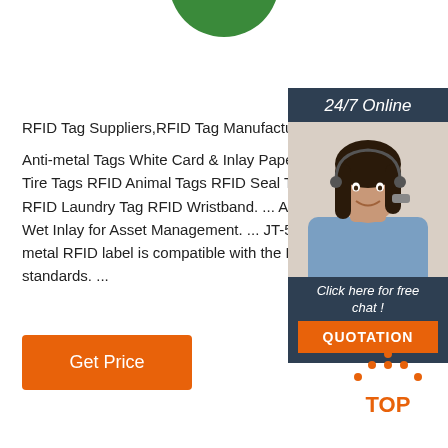[Figure (logo): Green circular logo at top center, partially cropped]
RFID Tag Suppliers,RFID Tag Manufacturers
Anti-metal Tags White Card & Inlay Paper Self-adhe Tire Tags RFID Animal Tags RFID Seal Tags Car Wi RFID Laundry Tag RFID Wristband. ... Alien H3 965 Wet Inlay for Asset Management. ... JT-5218 flexible metal RFID label is compatible with the EPC C1G2( standards. ...
[Figure (infographic): 24/7 Online chat widget with woman wearing headset, 'Click here for free chat!' text, and orange QUOTATION button]
[Figure (logo): Orange and dotted TOP logo at bottom right]